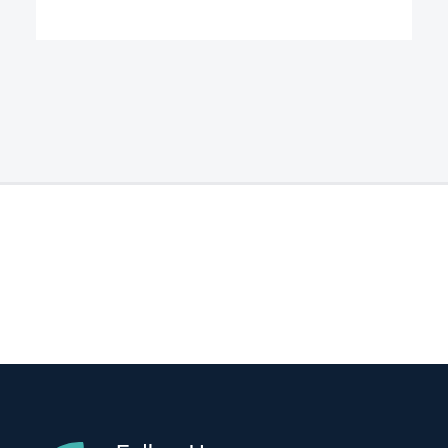[Figure (illustration): Light gray top section with white bar at top edge]
[Figure (illustration): Dark navy blue footer section with two call-to-action items: Follow Us On Envato with a teal leaf icon, and Join Our Newsletter with a teal @ icon. A yellow-green scroll-to-top button is on the right side.]